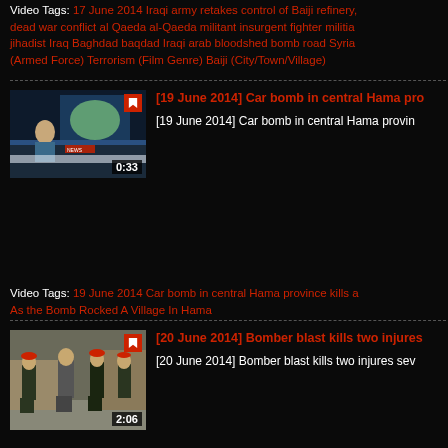Video Tags: 17 June 2014 Iraqi army retakes control of Baiji refinery, dead war conflict al Qaeda al-Qaeda militant insurgent fighter militia jihadist Iraq Baghdad baqdad Iraqi arab bloodshed bomb road Syria (Armed Force) Terrorism (Film Genre) Baiji (City/Town/Village)
[Figure (screenshot): Video thumbnail showing a news broadcast with a female anchor and a map of Syria/Middle East region. Duration 0:33.]
[19 June 2014] Car bomb in central Hama provin
[19 June 2014] Car bomb in central Hama provin
Video Tags: 19 June 2014 Car bomb in central Hama province kills a As the Bomb Rocked A Village In Hama
[Figure (screenshot): Video thumbnail showing military personnel walking together. Duration 2:06.]
[20 June 2014] Bomber blast kills two injures sev
[20 June 2014] Bomber blast kills two injures sev